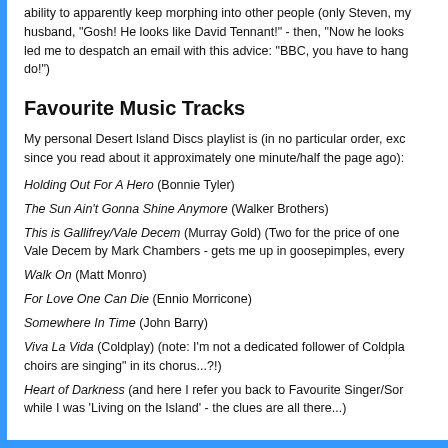ability to apparently keep morphing into other people (only Steven, my husband, "Gosh! He looks like David Tennant!" - then, "Now he looks led me to despatch an email with this advice: "BBC, you have to hang do!")
Favourite Music Tracks
My personal Desert Island Discs playlist is (in no particular order, exc since you read about it approximately one minute/half the page ago):
Holding Out For A Hero (Bonnie Tyler)
The Sun Ain't Gonna Shine Anymore (Walker Brothers)
This is Gallifrey/Vale Decem (Murray Gold) (Two for the price of one Vale Decem by Mark Chambers - gets me up in goosepimples, every
Walk On (Matt Monro)
For Love One Can Die (Ennio Morricone)
Somewhere In Time (John Barry)
Viva La Vida (Coldplay) (note: I'm not a dedicated follower of Coldplay choirs are singing" in its chorus...?!)
Heart of Darkness (and here I refer you back to Favourite Singer/Son while I was 'Living on the Island' - the clues are all there...)